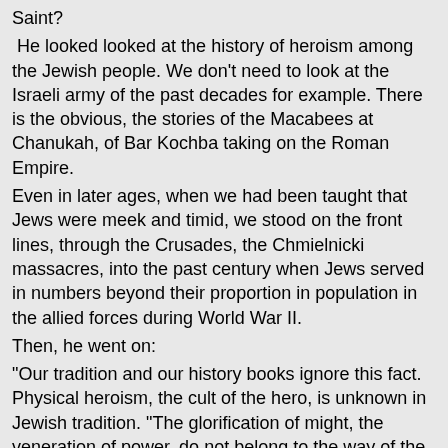Saint? He looked looked at the history of heroism among the Jewish people. We don't need to look at the Israeli army of the past decades for example. There is the obvious, the stories of the Macabees at Chanukah, of Bar Kochba taking on the Roman Empire.
Even in later ages, when we had been taught that Jews were meek and timid, we stood on the front lines, through the Crusades, the Chmielnicki massacres, into the past century when Jews served in numbers beyond their proportion in population in the allied forces during World War II.
Then, he went on:
"Our tradition and our history books ignore this fact.  Physical heroism, the cult of the hero, is unknown in Jewish tradition. "The glorification of might, the veneration of power, do not belong to the way of the Jew, even when it is in the service of such legitimate causes as the defense of the persecuted and oppressed.
"Honoring only physical heroism is strange to us, because this honor goes hand in hand with physical strength and power, and the devil, too, can do the same. The criteria for heroism in Judaism is not in conquering the enemy, but in